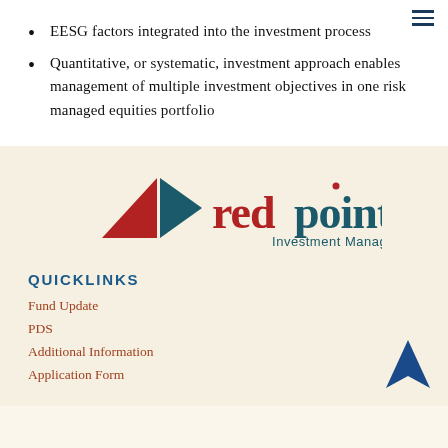EESG factors integrated into the investment process
Quantitative, or systematic, investment approach enables management of multiple investment objectives in one risk managed equities portfolio
[Figure (logo): Redpoint Investment Management logo with red triangle/arrow shapes and teal text reading 'redpoint Investment Management']
QUICKLINKS
Fund Update
PDS
Additional Information
Application Form